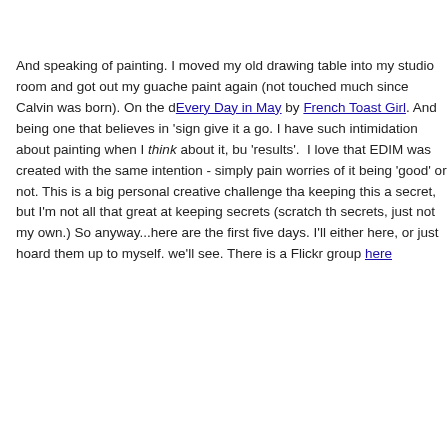And speaking of painting. I moved my old drawing table into my studio room and got out my guache paint again (not touched much since Calvin was born). On the desk I found Every Day in May by French Toast Girl. And being one that believes in 'signs' I decided to give it a go. I have such intimidation about painting when I think about it, but not about 'results'. I love that EDIM was created with the same intention - simply paint every day, no worries of it being 'good' or not. This is a big personal creative challenge that I was keeping this a secret, but I'm not all that great at keeping secrets (scratch that - I keep secrets, just not my own.) So anyway...here are the first five days. I'll either post them here, or just hoard them up to myself. we'll see. There is a Flickr group here